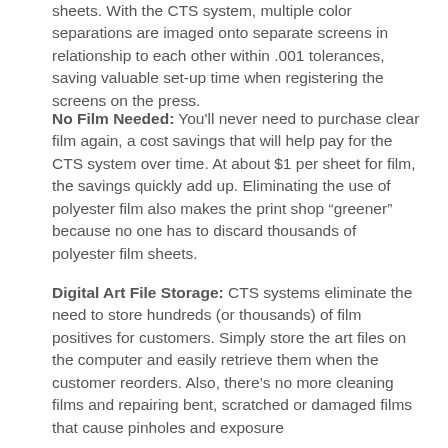sheets. With the CTS system, multiple color separations are imaged onto separate screens in relationship to each other within .001 tolerances, saving valuable set-up time when registering the screens on the press.
No Film Needed: You'll never need to purchase clear film again, a cost savings that will help pay for the CTS system over time. At about $1 per sheet for film, the savings quickly add up. Eliminating the use of polyester film also makes the print shop “greener” because no one has to discard thousands of polyester film sheets.
Digital Art File Storage: CTS systems eliminate the need to store hundreds (or thousands) of film positives for customers. Simply store the art files on the computer and easily retrieve them when the customer reorders. Also, there’s no more cleaning films and repairing bent, scratched or damaged films that cause pinholes and exposure